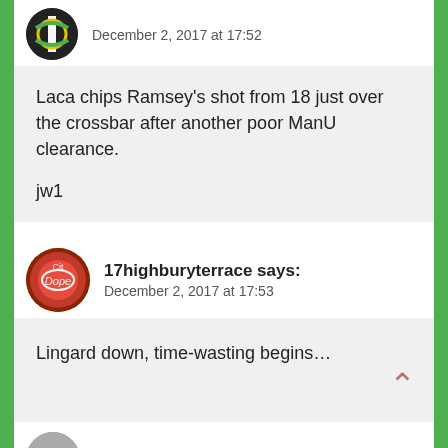December 2, 2017 at 17:52
Laca chips Ramsey's shot from 18 just over the crossbar after another poor ManU clearance.

jw1
17highburyterrace says:
December 2, 2017 at 17:53
Lingard down, time-wasting begins…